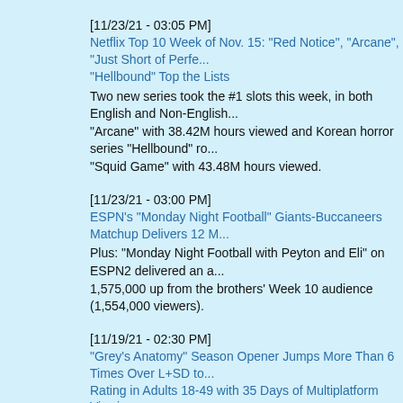[11/23/21 - 03:05 PM]
Netflix Top 10 Week of Nov. 15: "Red Notice", "Arcane", "Just Short of Perfe... "Hellbound" Top the Lists
Two new series took the #1 slots this week, in both English and Non-English... "Arcane" with 38.42M hours viewed and Korean horror series "Hellbound" ro... "Squid Game" with 43.48M hours viewed.
[11/23/21 - 03:00 PM]
ESPN's "Monday Night Football" Giants-Buccaneers Matchup Delivers 12 M...
Plus: "Monday Night Football with Peyton and Eli" on ESPN2 delivered an a... 1,575,000 up from the brothers' Week 10 audience (1,554,000 viewers).
[11/19/21 - 02:30 PM]
"Grey's Anatomy" Season Opener Jumps More Than 6 Times Over L+SD to... Rating in Adults 18-49 with 35 Days of Multiplatform Viewing
"Grey's Anatomy" ranks as ABC's No. 1 program this season in both Total Vi... million) and Adults 18-49 (4.74 rating) after 35 days of cross-platform viewing...
[11/19/21 - 01:15 PM]
"The CMA Awards" Builds Over Year-Ago Broadcast in Adults 18-49 After Se... Multiplatform Viewing
"The CMA Awards" soared to 8.1 million Total Viewers after seven days of m... viewing.
[11/19/21 - 12:28 PM]
"The Freak Brothers" Premiere Delivers Tubi's Most-Watched Episode
Additionally, the series delivered 80% more viewers than the #2 series on th...